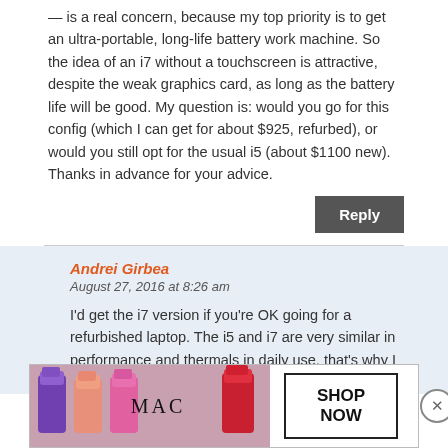— is a real concern, because my top priority is to get an ultra-portable, long-life battery work machine. So the idea of an i7 without a touchscreen is attractive, despite the weak graphics card, as long as the battery life will be good. My question is: would you go for this config (which I can get for about $925, refurbed), or would you still opt for the usual i5 (about $1100 new). Thanks in advance for your advice.
Reply
Andrei Girbea
August 27, 2016 at 8:26 am
I'd get the i7 version if you're OK going for a refurbished laptop. The i5 and i7 are very similar in performance and thermals in daily use, that's why I usu... i7?
[Figure (screenshot): MAC cosmetics advertisement banner with lipsticks and SHOP NOW button]